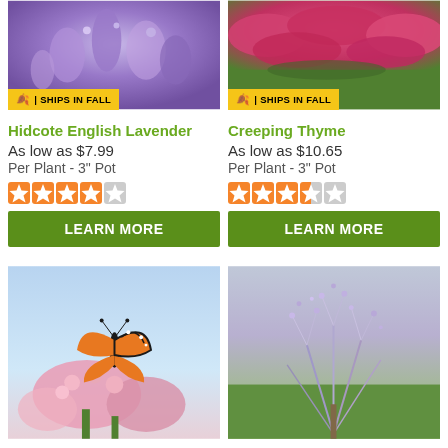[Figure (photo): Purple lavender flowers close-up with 'Ships in Fall' badge]
[Figure (photo): Pink creeping thyme ground cover with 'Ships in Fall' badge]
Hidcote English Lavender
Creeping Thyme
As low as $7.99
As low as $10.65
Per Plant - 3" Pot
Per Plant - 3" Pot
[Figure (other): 4 out of 5 stars rating (orange stars)]
[Figure (other): 3.5 out of 5 stars rating (orange stars)]
LEARN MORE
LEARN MORE
[Figure (photo): Monarch butterfly on pink milkweed flowers]
[Figure (photo): Russian sage / lavender-colored feathery shrub]